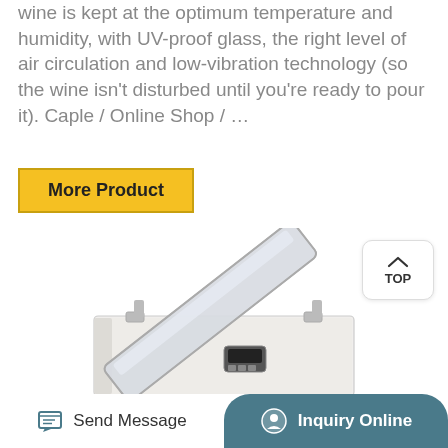wine is kept at the optimum temperature and humidity, with UV-proof glass, the right level of air circulation and low-vibration technology (so the wine isn't disturbed until you're ready to pour it). Caple / Online Shop / …
More Product
[Figure (photo): White chest freezer with open lid revealing glass panel, small digital control panel on front]
TOP
Send Message   Inquiry Online